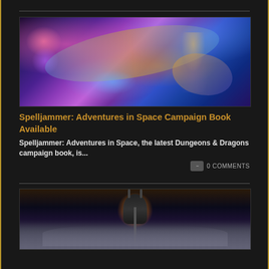[Figure (illustration): Fantasy space art showing floating figures, a serpentine creature, and a warrior with wings against a purple/blue cosmic background]
Spelljammer: Adventures in Space Campaign Book Available
Spelljammer: Adventures in Space, the latest Dungeons & Dragons campaign book, is...
0 COMMENTS
[Figure (illustration): Dark fantasy art showing a horned helmet figure with glowing golden aura against stormy dark clouds]